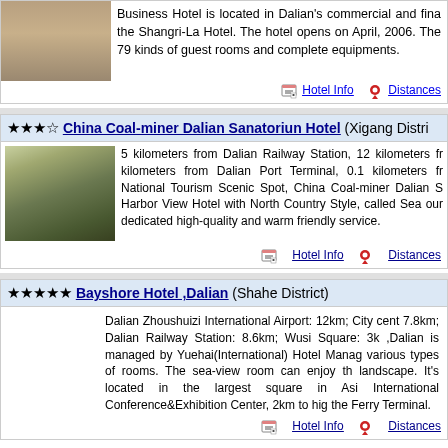Business Hotel is located in Dalian's commercial and financial center, near the Shangri-La Hotel. The hotel opens on April, 2006. The hotel has 79 kinds of guest rooms and complete equipments.
Hotel Info   Distances
★★★☆ China Coal-miner Dalian Sanatoriun Hotel (Xigang District)
[Figure (photo): Photo of China Coal-miner Dalian Sanatoriun Hotel exterior with trees]
5 kilometers from Dalian Railway Station, 12 kilometers from Dalian Port Terminal, 0.1 kilometers from National Tourism Scenic Spot, China Coal-miner Dalian S Harbor View Hotel with North Country Style, called Sea our dedicated high-quality and warm friendly service.
Hotel Info   Distances
★★★★★ Bayshore Hotel ,Dalian (Shahe District)
Dalian Zhoushuizi International Airport: 12km; City center: 7.8km; Dalian Railway Station: 8.6km; Wusi Square: 3km ,Dalian is managed by Yuehai(International) Hotel Management various types of rooms. The sea-view room can enjoy the landscape. It's located in the largest square in Asia International Conference&Exhibition Center, 2km to high the Ferry Terminal.
Hotel Info   Distances